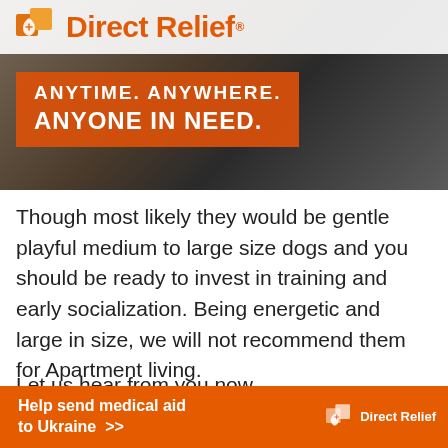[Figure (logo): Direct Relief logo banner with orange and white branding, showing 'ANYTIME. ANYWHERE. ANYONE IN NEED.' text over a photo background]
Though most likely they would be gentle playful medium to large size dogs and you should be ready to invest in training and early socialization. Being energetic and large in size, we will not recommend them for Apartment living.
Let us hear from you now.
[Figure (infographic): Direct Relief advertisement bar: 'Help send medical aid to Ukraine >>' with Direct Relief logo]